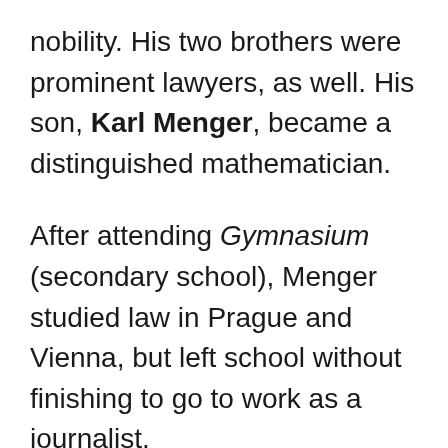nobility. His two brothers were prominent lawyers, as well. His son, Karl Menger, became a distinguished mathematician.
After attending Gymnasium (secondary school), Menger studied law in Prague and Vienna, but left school without finishing to go to work as a journalist.
Menger worked as a journalist and analyst for several years during the 1860s, reporting market news for the